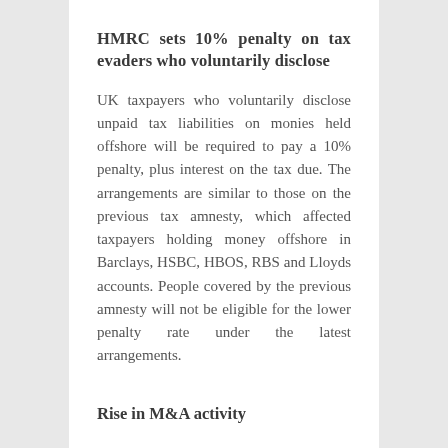HMRC sets 10% penalty on tax evaders who voluntarily disclose
UK taxpayers who voluntarily disclose unpaid tax liabilities on monies held offshore will be required to pay a 10% penalty, plus interest on the tax due. The arrangements are similar to those on the previous tax amnesty, which affected taxpayers holding money offshore in Barclays, HSBC, HBOS, RBS and Lloyds accounts. People covered by the previous amnesty will not be eligible for the lower penalty rate under the latest arrangements.
Rise in M&A activity
A big increase in mergers and acquisitions activity in the owner-